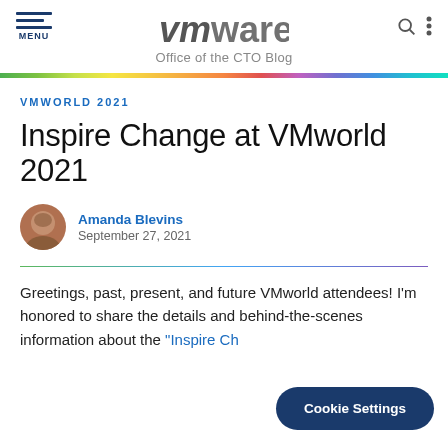VMware Office of the CTO Blog
[Figure (illustration): Rainbow gradient horizontal bar separating header from content]
VMworld 2021
Inspire Change at VMworld 2021
Amanda Blevins
September 27, 2021
Greetings, past, present, and future VMworld attendees! I'm honored to share the details and behind-the-scenes information about the "Inspire Ch...